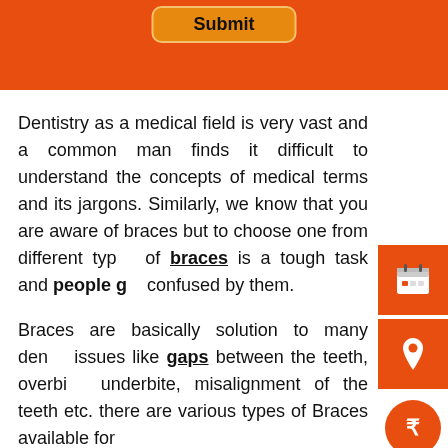[Figure (screenshot): Orange header bar with a Submit button in a rounded rectangle]
Dentistry as a medical field is very vast and a common man finds it difficult to understand the concepts of medical terms and its jargons. Similarly, we know that you are aware of braces but to choose one from different types of braces is a tough task and people get confused by them.
Braces are basically solution to many dental issues like gaps between the teeth, overbite, underbite, misalignment of the teeth etc. there are various types of Braces available for